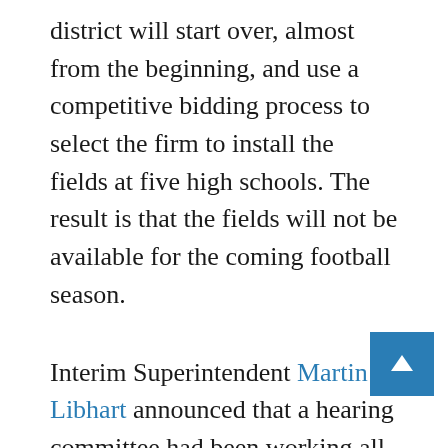district will start over, almost from the beginning, and use a competitive bidding process to select the firm to install the fields at five high schools. The result is that the fields will not be available for the coming football season.
Interim Superintendent Martin Libhart announced that a hearing committee had been working all day, and that its recommendation was to reject and revoke the award of bid to Hellas Construction, and the the project should be put out for competitive bid.
During time for citizen comment, speakers